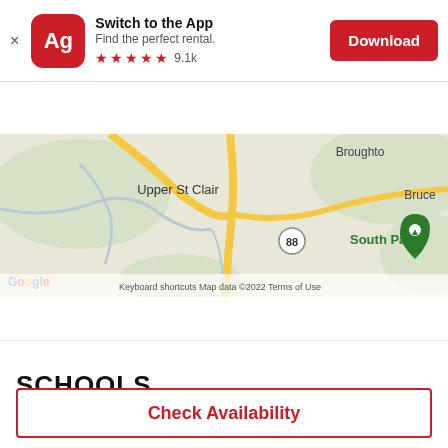[Figure (screenshot): App download banner for Apartmentguide app with icon, title 'Switch to the App', subtitle 'Find the perfect rental.', 5 red stars rating with 9.1k reviews, and a red Download button]
[Figure (screenshot): Navigation bar with red back arrow button, hamburger menu, and Apartmentguide logo 'Powered by Rent.']
[Figure (map): Google Map showing Upper St Clair, South Park (with green location pin), Broughton, and Bruce areas near Pittsburgh. Route 88 visible. Yellow roads on gray/green terrain. Google branding and 'Keyboard shortcuts | Map data ©2022 | Terms of Use' at bottom.]
SCHOOLS
Check Availability